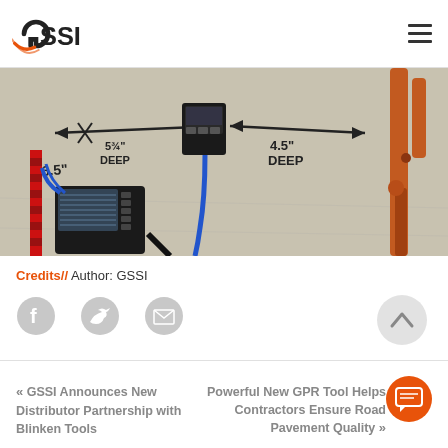GSSI
[Figure (photo): GPR equipment scan on concrete floor with hand-drawn annotations showing dimensions: 6.5 inches, 5 3/4 inches DEEP, 4.5 inches DEEP, with arrows and a GPR device visible]
Credits// Author: GSSI
[Figure (other): Social share icons: Facebook, Twitter, Email]
« GSSI Announces New Distributor Partnership with Blinken Tools
Powerful New GPR Tool Helps Contractors Ensure Road Pavement Quality »